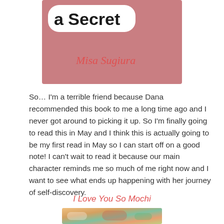[Figure (illustration): Book cover for a novel showing 'a Secret' in a white rounded bubble on a dusty rose/pink background, with author name 'Misa Sugiura' in coral/red cursive script below]
So… I'm a terrible friend because Dana recommended this book to me a long time ago and I never got around to picking it up. So I'm finally going to read this in May and I think this is actually going to be my first read in May so I can start off on a good note! I can't wait to read it because our main character reminds me so much of me right now and I want to see what ends up happening with her journey of self-discovery.
I Love You So Mochi
[Figure (photo): Partial view of a colorful book cover at the bottom of the page]